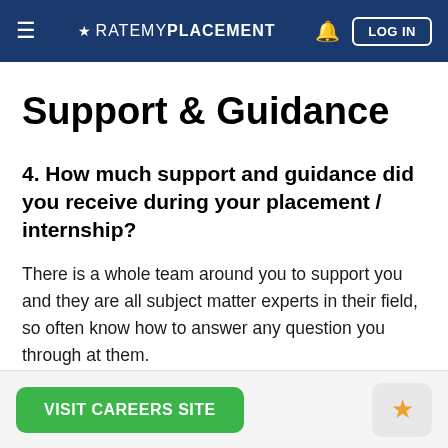≡ ★ RATEMYPLACEMENT  🔔  LOG IN
Support & Guidance
4. How much support and guidance did you receive during your placement / internship?
There is a whole team around you to support you and they are all subject matter experts in their field, so often know how to answer any question you through at them.
VISIT CAREERS SITE  ☆